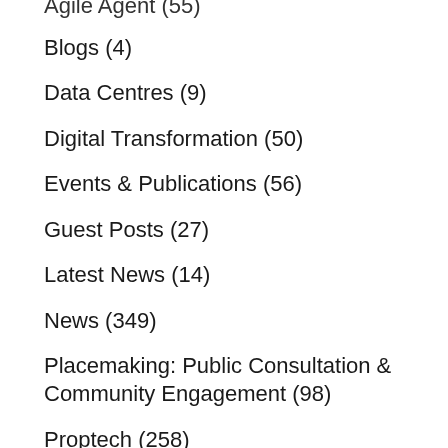Agile Agent (55)
Blogs (4)
Data Centres (9)
Digital Transformation (50)
Events & Publications (56)
Guest Posts (27)
Latest News (14)
News (349)
Placemaking: Public Consultation & Community Engagement (98)
Proptech (258)
Sunday Property Review (253)